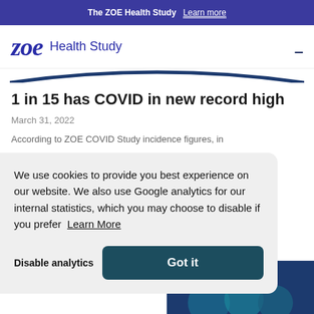The ZOE Health Study  Learn more
zoe Health Study
1 in 15 has COVID in new record high
March 31, 2022
According to ZOE COVID Study incidence figures, in
We use cookies to provide you best experience on our website. We also use Google analytics for our internal statistics, which you may choose to disable if you prefer  Learn More
Disable analytics
Got it